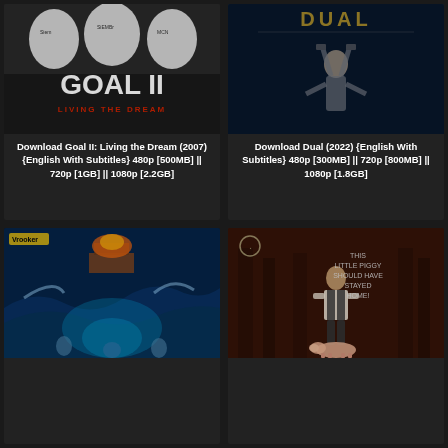[Figure (photo): Movie poster for Goal II: Living the Dream (2007) showing football players in white jerseys]
Download Goal II: Living the Dream (2007) {English With Subtitles} 480p [500MB] || 720p [1GB] || 1080p [2.2GB]
[Figure (photo): Movie poster for Dual (2022) showing an upside-down figure with dark atmospheric background]
Download Dual (2022) {English With Subtitles} 480p [300MB] || 720p [800MB] || 1080p [1.8GB]
[Figure (photo): Movie poster showing ocean/sea adventure scene with dramatic waves and glowing underwater elements]
[Figure (photo): Movie poster with text 'This Little Piggy Should Have Stayed Home' showing a man in a forest with a pig]